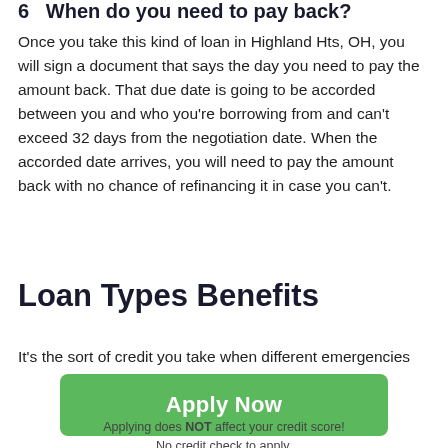6   When do you need to pay back?
Once you take this kind of loan in Highland Hts, OH, you will sign a document that says the day you need to pay the amount back. That due date is going to be accorded between you and who you're borrowing from and can't exceed 32 days from the negotiation date. When the accorded date arrives, you will need to pay the amount back with no chance of refinancing it in case you can't.
Loan Types Benefits
It's the sort of credit you take when different emergencies
[Figure (other): Green 'Apply Now' button]
Applying does NOT affect your credit score!
No credit check to apply.